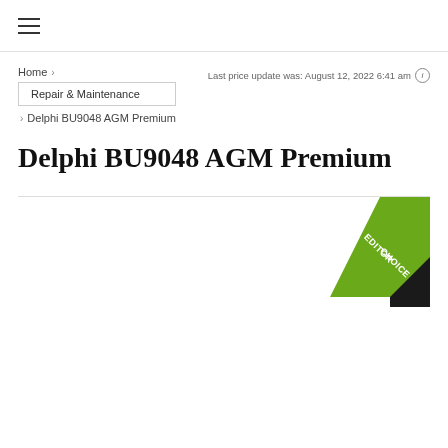≡ (hamburger menu)
Home > Repair & Maintenance > Delphi BU9048 AGM Premium
Last price update was: August 12, 2022 6:41 am
Delphi BU9048 AGM Premium
[Figure (illustration): Editor Choice ribbon/badge in green positioned in upper right of product image area]